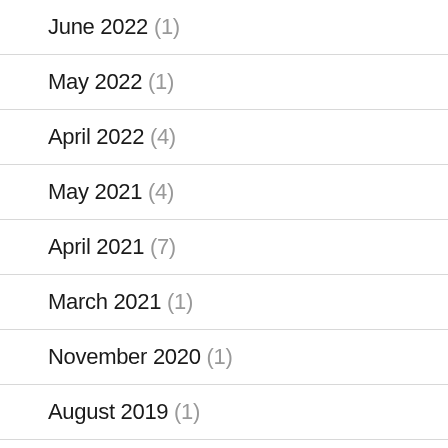June 2022 (1)
May 2022 (1)
April 2022 (4)
May 2021 (4)
April 2021 (7)
March 2021 (1)
November 2020 (1)
August 2019 (1)
January 2019 (2)